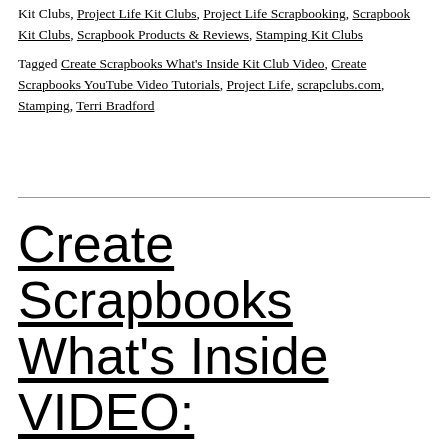Kit Clubs, Project Life Kit Clubs, Project Life Scrapbooking, Scrapbook Kit Clubs, Scrapbook Products & Reviews, Stamping Kit Clubs
Tagged Create Scrapbooks What's Inside Kit Club Video, Create Scrapbooks YouTube Video Tutorials, Project Life, scrapclubs.com, Stamping, Terri Bradford
Create Scrapbooks What's Inside VIDEO: Paper Camellia